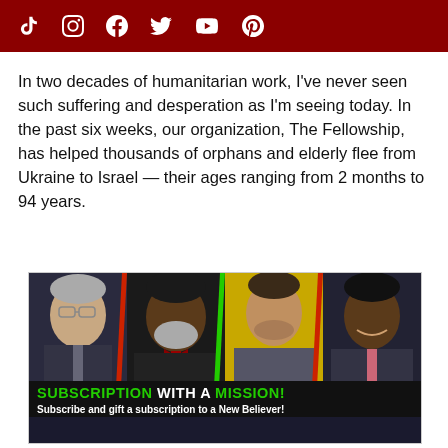Social media icons: TikTok, Instagram, Facebook, Twitter, YouTube, Pinterest
In two decades of humanitarian work, I've never seen such suffering and desperation as I'm seeing today. In the past six weeks, our organization, The Fellowship, has helped thousands of orphans and elderly flee from Ukraine to Israel — their ages ranging from 2 months to 94 years.
[Figure (infographic): Advertisement banner showing four men smiling, with colored diagonal dividers between them against dark background. Text reads 'SUBSCRIPTION WITH A MISSION! Subscribe and gift a subscription to a New Believer!']